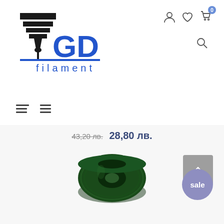[Figure (logo): GD Filament logo with 3D printer nozzle graphic and blue GD text with filament text below]
[Figure (illustration): Navigation icons: user profile, heart/wishlist, shopping cart with badge showing 0, and search icon]
[Figure (illustration): Two hamburger menu icons for layout toggle]
43,20 лв.  28,80 лв.
[Figure (illustration): Scroll to top button (upward arrow on grey background)]
[Figure (photo): Dark green filament spool for 3D printing]
[Figure (illustration): Sale badge circle with text 'sale']